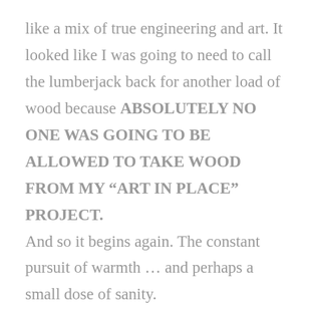like a mix of true engineering and art. It looked like I was going to need to call the lumberjack back for another load of wood because ABSOLUTELY NO ONE WAS GOING TO BE ALLOWED TO TAKE WOOD FROM MY “ART IN PLACE” PROJECT.

And so it begins again. The constant pursuit of warmth … and perhaps a small dose of sanity.

~Shelley